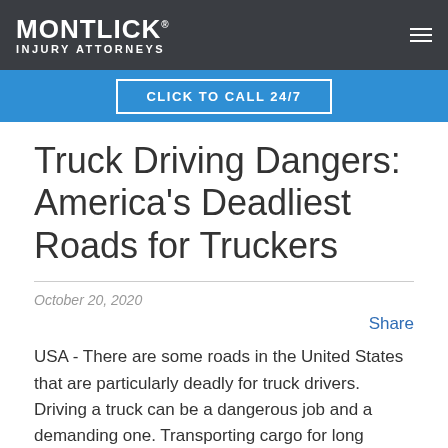MONTLICK INJURY ATTORNEYS
CLICK TO CALL 24/7
Truck Driving Dangers: America's Deadliest Roads for Truckers
October 20, 2020
Share
USA - There are some roads in the United States that are particularly deadly for truck drivers. Driving a truck can be a dangerous job and a demanding one. Transporting cargo for long periods of time can lead to fatigue, a condition that can